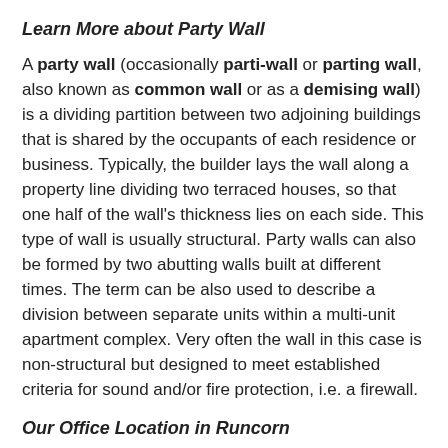Learn More about Party Wall
A party wall (occasionally parti-wall or parting wall, also known as common wall or as a demising wall) is a dividing partition between two adjoining buildings that is shared by the occupants of each residence or business. Typically, the builder lays the wall along a property line dividing two terraced houses, so that one half of the wall's thickness lies on each side. This type of wall is usually structural. Party walls can also be formed by two abutting walls built at different times. The term can be also used to describe a division between separate units within a multi-unit apartment complex. Very often the wall in this case is non-structural but designed to meet established criteria for sound and/or fire protection, i.e. a firewall.
Our Office Location in Runcorn
[Figure (map): A grey placeholder box representing a map of office location in Runcorn]